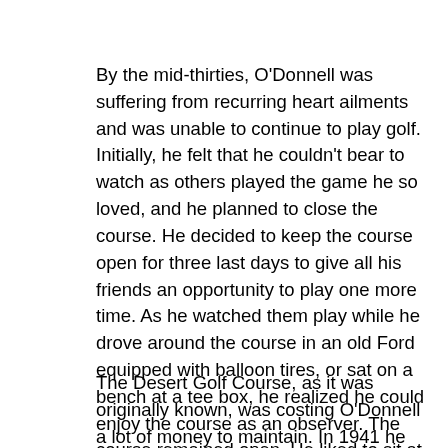By the mid-thirties, O'Donnell was suffering from recurring heart ailments and was unable to continue to play golf. Initially, he felt that he couldn't bear to watch as others played the game he so loved, and he planned to close the course. He decided to keep the course open for three last days to give all his friends an opportunity to play one more time. As he watched them play while he drove around the course in an old Ford equipped with balloon tires, or sat on a bench at a tee box, he realized he could enjoy the course as an observer. The course remained open. He liked to sit at the 7th tee and bet the players a dime that they couldn't hit the green with their tee shots. He also organized putting contests in which he could participate.
The Desert Golf Course, as it was originally known, was costing O'Donnell a lot of money to maintain. In 1941 he suffered a severe heart attack and in 1944, Tom realized